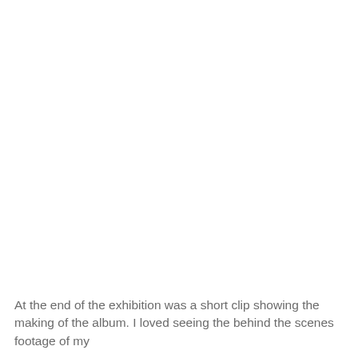At the end of the exhibition was a short clip showing the making of the album. I loved seeing the behind the scenes footage of my